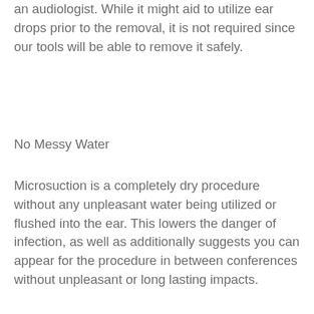an audiologist. While it might aid to utilize ear drops prior to the removal, it is not required since our tools will be able to remove it safely.
No Messy Water
Microsuction is a completely dry procedure without any unpleasant water being utilized or flushed into the ear. This lowers the danger of infection, as well as additionally suggests you can appear for the procedure in between conferences without unpleasant or long lasting impacts.
Safe For Existing Perforations
Unlike ear syringing as well as ear irrigation, it is